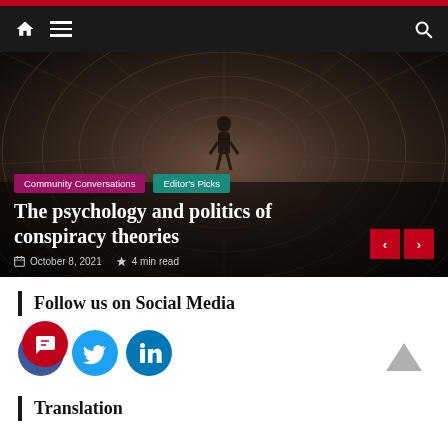Navigation bar with home, menu, and search icons
[Figure (screenshot): Hero image of a person silhouetted in a dark spiral tunnel, with article tags 'Community Conversations' and 'Editor's Picks', article title 'The psychology and politics of conspiracy theories', date October 8, 2021, and 4 min read, with red navigation arrows]
The psychology and politics of conspiracy theories
October 8, 2021  4 min read
Follow us on Social Media
[Figure (illustration): Facebook, Twitter, and LinkedIn social media icons]
Translation